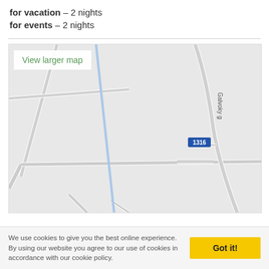for vacation – 2 nights
for events – 2 nights
[Figure (map): Street map showing roads near road 1316 and Galvoky g street. A blue road runs diagonally through the center. Several grey roads intersect. A blue route marker labeled 1316 appears near center-right.]
We use cookies to give you the best online experience. By using our website you agree to our use of cookies in accordance with our cookie policy.